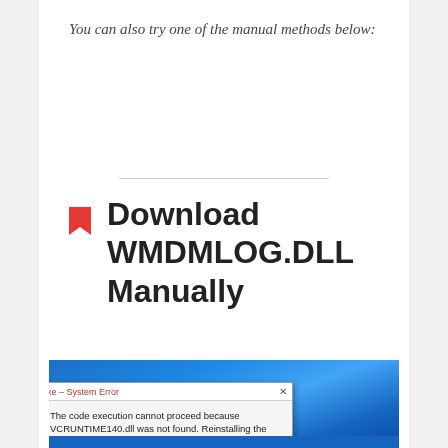You can also try one of the manual methods below:
Download WMDMLOG.DLL Manually
[Figure (screenshot): Windows 10 desktop background with a system error dialog box. Dialog title: 'xe – System Error'. Dialog message: 'The code execution cannot proceed because VCRUNTIME140.dll was not found. Reinstalling the program may fix this problem.' An OK button is shown at the bottom right of the dialog.]